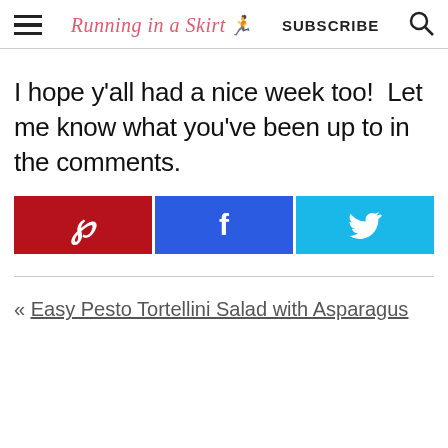Running in a Skirt | SUBSCRIBE
I hope y'all had a nice week too!  Let me know what you've been up to in the comments.
[Figure (infographic): Three social share buttons: Pinterest (red), Facebook (blue), Twitter (light blue)]
« Easy Pesto Tortellini Salad with Asparagus